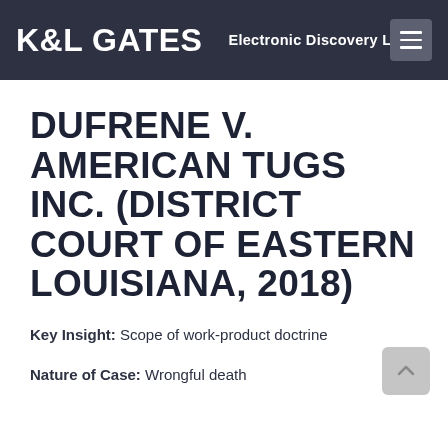K&L GATES  Electronic Discovery Law
DUFRENE V. AMERICAN TUGS INC. (DISTRICT COURT OF EASTERN LOUISIANA, 2018)
Key Insight: Scope of work-product doctrine
Nature of Case: Wrongful death